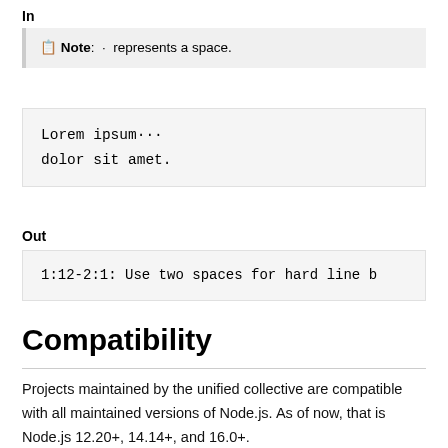In
📋 Note: · represents a space.
Lorem ipsum···
dolor sit amet.
Out
1:12-2:1: Use two spaces for hard line b
Compatibility
Projects maintained by the unified collective are compatible with all maintained versions of Node.js. As of now, that is Node.js 12.20+, 14.14+, and 16.0+.